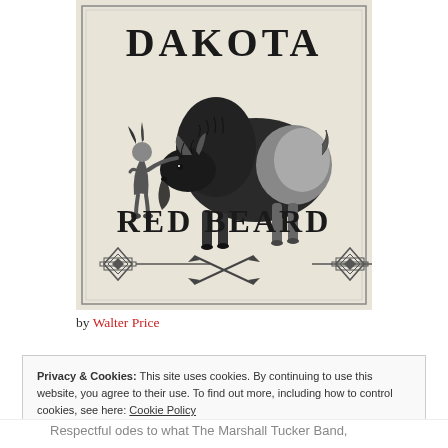[Figure (illustration): Book cover illustration for 'Dakota Red Beard' showing a small Native American figure standing next to a large bison/buffalo. The word DAKOTA appears at the top in bold serif letters, RED BEARD appears at the bottom. Decorative Native American geometric border patterns appear at the bottom corners and center with crossed arrows motif. The illustration is in black and white/grayscale on a cream/beige background.]
by Walter Price
Privacy & Cookies: This site uses cookies. By continuing to use this website, you agree to their use. To find out more, including how to control cookies, see here: Cookie Policy
Respectful odes to what The Marshall Tucker Band,